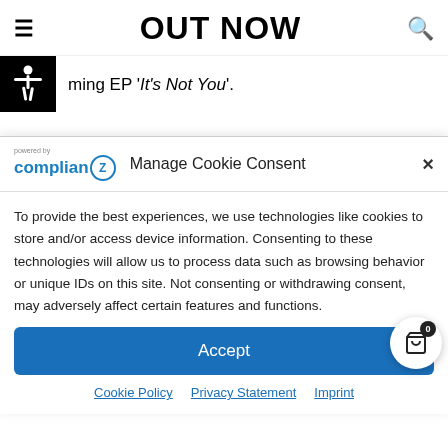OUT NOW
ming EP 'It's Not You'.
Manage Cookie Consent
To provide the best experiences, we use technologies like cookies to store and/or access device information. Consenting to these technologies will allow us to process data such as browsing behavior or unique IDs on this site. Not consenting or withdrawing consent, may adversely affect certain features and functions.
Accept
Cookie Policy   Privacy Statement   Imprint